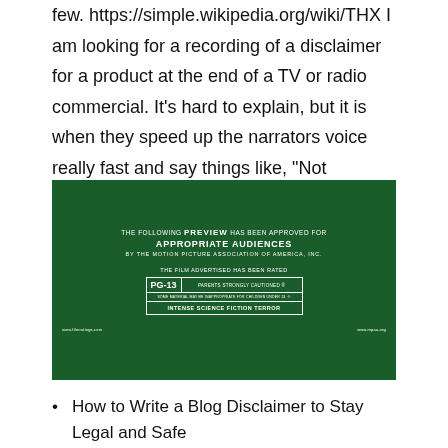few. https://simple.wikipedia.org/wiki/THX I am looking for a recording of a disclaimer for a product at the end of a TV or radio commercial. It's hard to explain, but it is when they speed up the narrators voice really fast and say things like, "Not available in all locations" or "for a limited time" or "results may vary"..
[Figure (photo): Green MPAA rating card showing 'THE FOLLOWING PREVIEW HAS BEEN APPROVED FOR APPROPRIATE AUDIENCES BY THE MOTION PICTURE ASSOCIATION OF AMERICA, INC.' with a PG-13 rating box reading 'PARENTS STRONGLY CAUTIONED', 'SOME MATERIAL MAY BE INAPPROPRIATE FOR CHILDREN UNDER 13', and 'INTENSE SCIENCE FICTION TERROR'. URLs www.filmratings.com and www.mpaa.org shown at bottom.]
How to Write a Blog Disclaimer to Stay Legal and Safe
Sample website disclaimer nibusinessinfo.co.uk